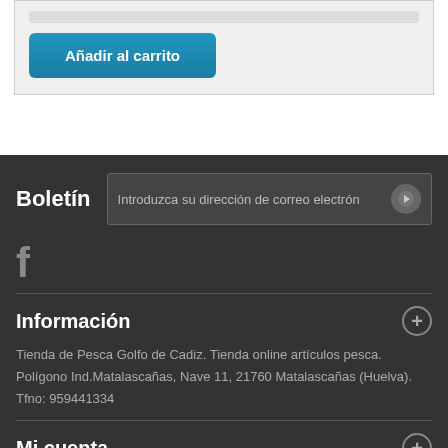[Figure (screenshot): Add to cart button area with light gray background and blue 'Añadir al carrito' button]
Boletín
Introduzca su dirección de correo electrón
[Figure (logo): Facebook icon in gray]
Información
Tienda de Pesca Golfo de Cadiz. Tienda online artículos pesca. Polígono Ind.Matalascañas, Nave 11, 21760 Matalascañas (Huelva). Tfno: 959441334
Mi cuenta